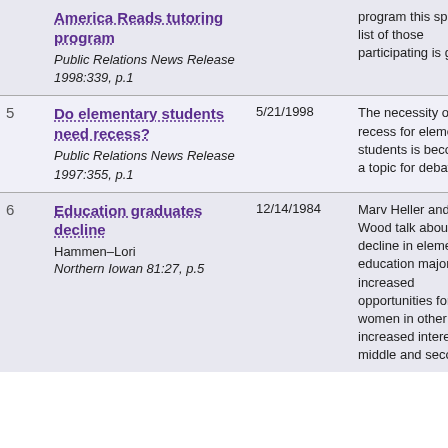| # | Title / Source | Date | Description |
| --- | --- | --- | --- |
|  | America Reads tutoring program
Public Relations News Release 1998:339, p.1 |  | program this spring. A list of those participating is given. |
| 5 | Do elementary students need recess?
Public Relations News Release 1997:355, p.1 | 5/21/1998 | The necessity of recess for elementary students is becoming a topic for debate. |
| 6 | Education graduates decline
Hammen–Lori
Northern Iowan 81:27, p.5 | 12/14/1984 | Marv Heller and Don Wood talk about the decline in elementary education majors; cite increased opportunities for women in other fields, increased interest in middle and secondary |